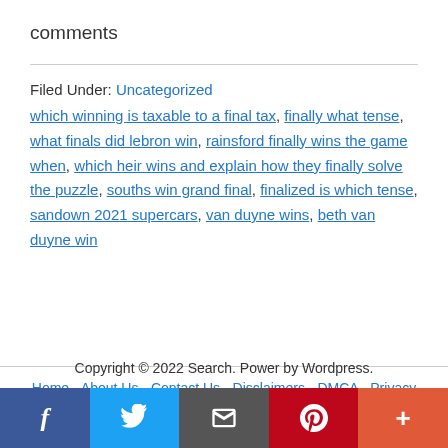comments
Filed Under: Uncategorized
which winning is taxable to a final tax, finally what tense, what finals did lebron win, rainsford finally wins the game when, which heir wins and explain how they finally solve the puzzle, souths win grand final, finalized is which tense, sandown 2021 supercars, van duyne wins, beth van duyne win
Copyright © 2022 Search. Power by Wordpress.
Home - About Us - Contact Us - Disclaimers - DMCA - Privacy